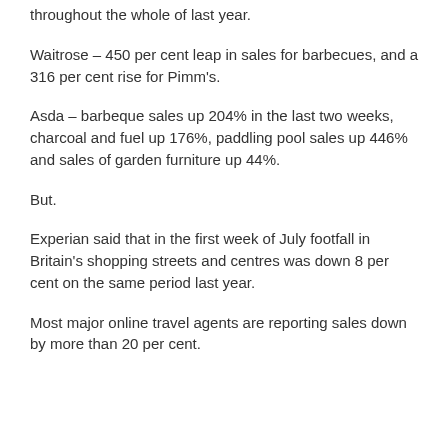throughout the whole of last year.
Waitrose – 450 per cent leap in sales for barbecues, and a 316 per cent rise for Pimm's.
Asda – barbeque sales up 204% in the last two weeks, charcoal and fuel up 176%, paddling pool sales up 446% and sales of garden furniture up 44%.
But.
Experian said that in the first week of July footfall in Britain's shopping streets and centres was down 8 per cent on the same period last year.
Most major online travel agents are reporting sales down by more than 20 per cent.